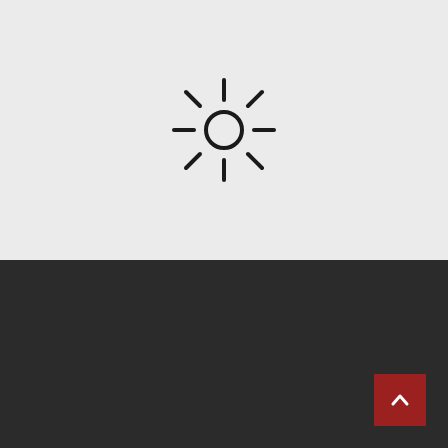[Figure (illustration): A sun icon with a circle in the center and radiating lines representing rays, drawn in black outline style on a light gray background]
Copyright (c) 2021 Gaana Himachali All Right Reseved